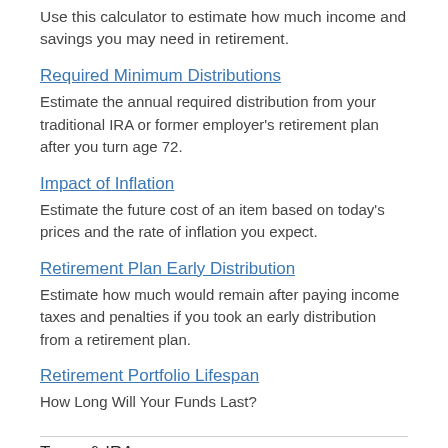Use this calculator to estimate how much income and savings you may need in retirement.
Required Minimum Distributions
Estimate the annual required distribution from your traditional IRA or former employer's retirement plan after you turn age 72.
Impact of Inflation
Estimate the future cost of an item based on today's prices and the rate of inflation you expect.
Retirement Plan Early Distribution
Estimate how much would remain after paying income taxes and penalties if you took an early distribution from a retirement plan.
Retirement Portfolio Lifespan
How Long Will Your Funds Last?
Taxes & IRAs
Federal Income Tax